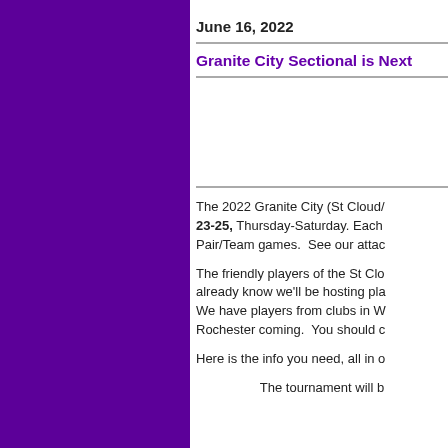June 16, 2022
Granite City Sectional is Next
[Figure (other): Decorative or article image section (content cropped/not visible)]
The 2022 Granite City (St Cloud/ 23-25, Thursday-Saturday. Each Pair/Team games.  See our attac
The friendly players of the St Clo already know we'll be hosting pla We have players from clubs in W Rochester coming.  You should c
Here is the info you need, all in o
The tournament will b